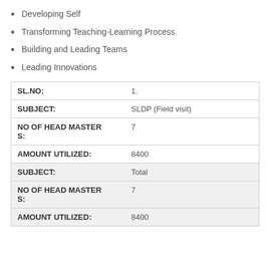Developing Self
Transforming Teaching-Learning Process
Building and Leading Teams
Leading Innovations
| Field | Value |
| --- | --- |
| SL.NO: | 1. |
| SUBJECT: | SLDP (Field visit) |
| NO OF HEAD MASTERS: | 7 |
| AMOUNT UTILIZED: | 8400 |
| SUBJECT: | Total |
| NO OF HEAD MASTERS: | 7 |
| AMOUNT UTILIZED: | 8400 |